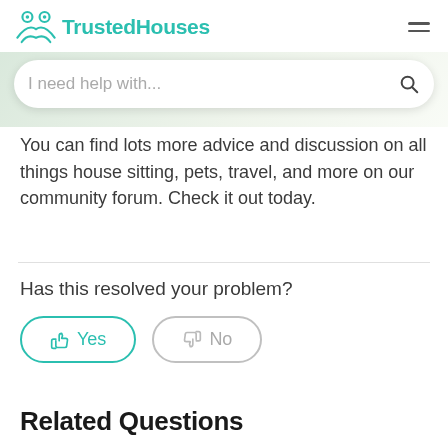TrustedHouses
[Figure (screenshot): Search bar with placeholder text 'I need help with...' and a search icon]
You can find lots more advice and discussion on all things house sitting, pets, travel, and more on our community forum. Check it out today.
Has this resolved your problem?
Yes
No
Related Questions